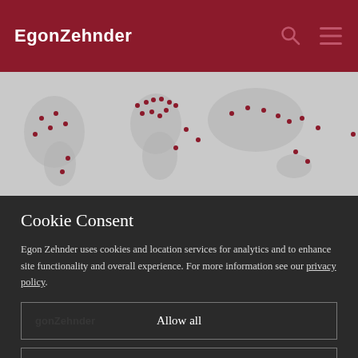EgonZehnder
[Figure (map): World map with dark red dot markers indicating office locations across Europe, Americas, Asia, and other regions. Map background is light grey.]
Cookie Consent
Egon Zehnder uses cookies and location services for analytics and to enhance site functionality and overall experience. For more information see our privacy policy.
Allow all
Show details